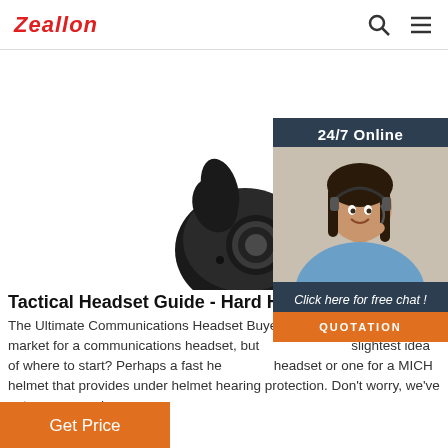Zeallon
[Figure (photo): Two black wireless earbuds (true wireless style) on a white background, viewed from above]
[Figure (photo): 24/7 Online chat widget with a smiling female customer service agent wearing a headset, with 'Click here for free chat!' text and an orange QUOTATION button]
Tactical Headset Guide - Hard Head Veteran
The Ultimate Communications Headset Buyer's Guide. Are you in the market for a communications headset, but don't have the slightest idea of where to start? Perhaps a fast headset or one for a MICH helmet that provides under helmet hearing protection. Don't worry, we've got you covered.
Get Price